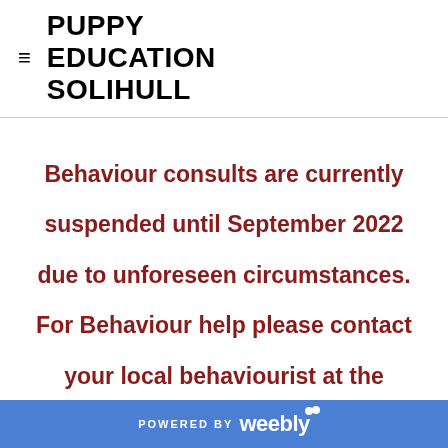PUPPY EDUCATION SOLIHULL
Behaviour consults are currently suspended until September 2022 due to unforeseen circumstances. For Behaviour help please contact your local behaviourist at the Association of Pet
POWERED BY weebly